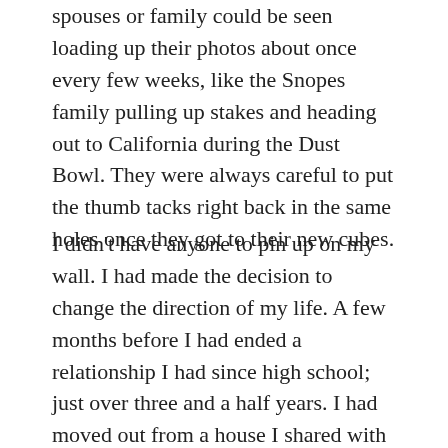spouses or family could be seen loading up their photos about once every few weeks, like the Snopes family pulling up stakes and heading out to California during the Dust Bowl. They were always careful to put the thumb tacks right back in the same holes once they got to their new cubes.
I didn't have anyone to pin up on my wall. I had made the decision to change the direction of my life. A few months before I had ended a relationship I had since high school; just over three and a half years. I had moved out from a house I shared with three guys I had known since I was at least ten years old. We never really spoke again. I was living alone in a studio apartment, the old parlor of a victorian house which had been build in 1894 for a doctor. Three other families shared the house. I didn't know any of their names unless I happened to